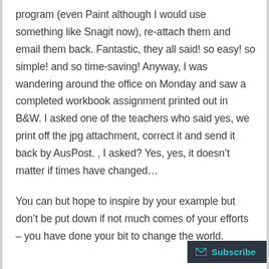program (even Paint although I would use something like Snagit now), re-attach them and email them back. Fantastic, they all said! so easy! so simple! and so time-saving! Anyway, I was wandering around the office on Monday and saw a completed workbook assignment printed out in B&W. I asked one of the teachers who said yes, we print off the jpg attachment, correct it and send it back by AusPost. , I asked? Yes, yes, it doesn’t matter if times have changed…
You can but hope to inspire by your example but don’t be put down if not much comes of your efforts – you have done your bit to change the world.